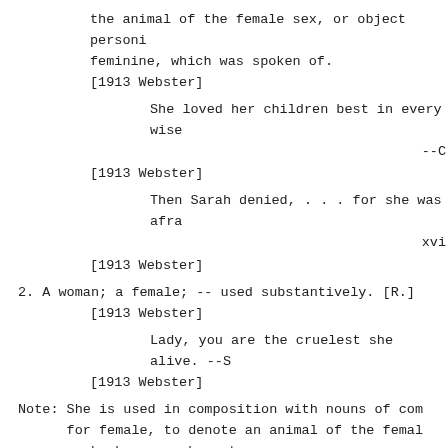the animal of the female sex, or object personified as feminine, which was spoken of.
[1913 Webster]
She loved her children best in every wise
--C
[1913 Webster]
Then Sarah denied, . . . for she was afra
xvi
[1913 Webster]
2. A woman; a female; -- used substantively. [R.]
[1913 Webster]
Lady, you are the cruelest she alive. --S
[1913 Webster]
Note: She is used in composition with nouns of com for female, to denote an animal of the femal a she-bear; a she-cat.
[1913 Webster]